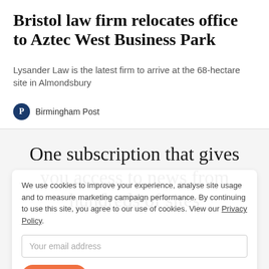Bristol law firm relocates office to Aztec West Business Park
Lysander Law is the latest firm to arrive at the 68-hectare site in Almondsbury
Birmingham Post
One subscription that gives you access to news from hundreds of sites
We use cookies to improve your experience, analyse site usage and to measure marketing campaign performance. By continuing to use this site, you agree to our use of cookies. View our Privacy Policy.
Your email address
ACCEPT
START YOUR FREE TRIAL